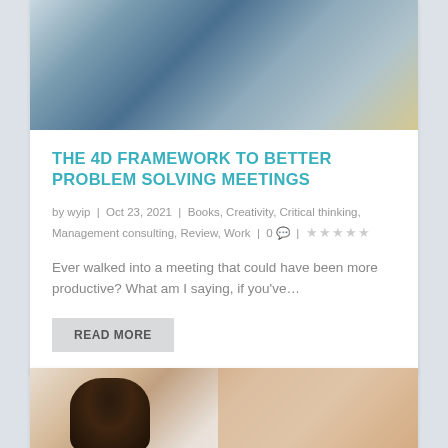[Figure (photo): Photo of people in a classroom or meeting room with a whiteboard, seen from partial view]
THE 4D FRAMEWORK TO BETTER PROBLEM SOLVING MEETINGS
by wyip | Oct 23, 2021 | Books, Creativity, Critical thinking, Management consulting, Review, Work | 0 | ★★★★★
Ever walked into a meeting that could have been more productive? What am I saying, if you've…
READ MORE
[Figure (photo): Partial photo of a woman with curly hair smiling, with a beige/tan panel on the right side]